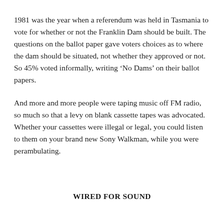1981 was the year when a referendum was held in Tasmania to vote for whether or not the Franklin Dam should be built. The questions on the ballot paper gave voters choices as to where the dam should be situated, not whether they approved or not. So 45% voted informally, writing ‘No Dams’ on their ballot papers.
And more and more people were taping music off FM radio, so much so that a levy on blank cassette tapes was advocated. Whether your cassettes were illegal or legal, you could listen to them on your brand new Sony Walkman, while you were perambulating.
WIRED FOR SOUND